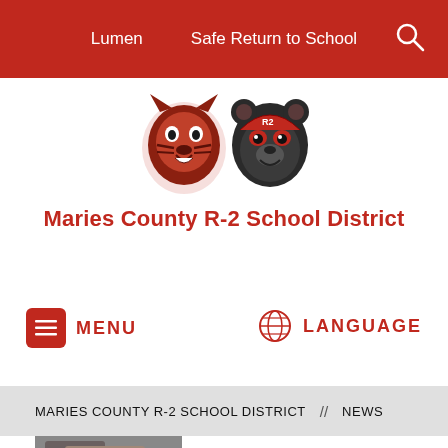Lumen   Safe Return to School
[Figure (logo): Two animal mascot logos — a tiger and a bear, both in red/black color scheme]
Maries County R-2 School District
MENU
LANGUAGE
MARIES COUNTY R-2 SCHOOL DISTRICT // NEWS
[Figure (photo): Small thumbnail photo showing a student working on a project, viewed from above]